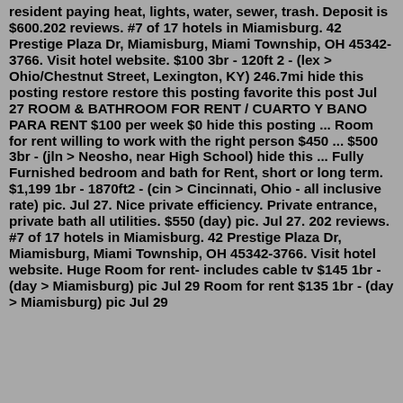resident paying heat, lights, water, sewer, trash. Deposit is $600.202 reviews. #7 of 17 hotels in Miamisburg. 42 Prestige Plaza Dr, Miamisburg, Miami Township, OH 45342-3766. Visit hotel website. $100 3br - 120ft 2 - (lex > Ohio/Chestnut Street, Lexington, KY) 246.7mi hide this posting restore restore this posting favorite this post Jul 27 ROOM & BATHROOM FOR RENT / CUARTO Y BANO PARA RENT $100 per week $0 hide this posting ... Room for rent willing to work with the right person $450 ... $500 3br - (jln > Neosho, near High School) hide this ... Fully Furnished bedroom and bath for Rent, short or long term. $1,199 1br - 1870ft2 - (cin > Cincinnati, Ohio - all inclusive rate) pic. Jul 27. Nice private efficiency. Private entrance, private bath all utilities. $550 (day) pic. Jul 27. 202 reviews. #7 of 17 hotels in Miamisburg. 42 Prestige Plaza Dr, Miamisburg, Miami Township, OH 45342-3766. Visit hotel website. Huge Room for rent- includes cable tv $145 1br - (day > Miamisburg) pic Jul 29 Room for rent $135 1br - (day > Miamisburg) pic Jul 29